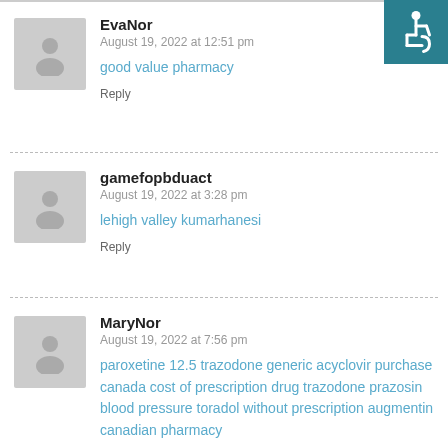[Figure (other): Accessibility icon (wheelchair symbol) in teal square, top right corner]
EvaNor
August 19, 2022 at 12:51 pm
good value pharmacy
Reply
gamefopbduact
August 19, 2022 at 3:28 pm
lehigh valley kumarhanesi
Reply
MaryNor
August 19, 2022 at 7:56 pm
paroxetine 12.5 trazodone generic acyclovir purchase canada cost of prescription drug trazodone prazosin blood pressure toradol without prescription augmentin canadian pharmacy
Reply